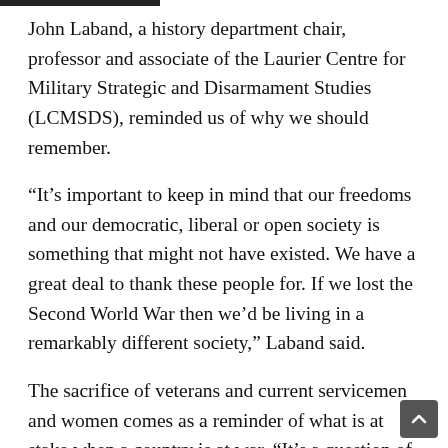John Laband, a history department chair, professor and associate of the Laurier Centre for Military Strategic and Disarmament Studies (LCMSDS), reminded us of why we should remember.
“It’s important to keep in mind that our freedoms and our democratic, liberal or open society is something that might not have existed. We have a great deal to thank these people for. If we lost the Second World War then we’d be living in a remarkably different society,” Laband said.
The sacrifice of veterans and current servicemen and women comes as a reminder of what is at stake when a country is at war. “It’s a question of remembering what